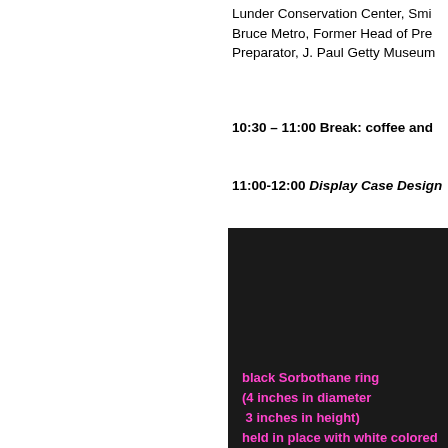Lunder Conservation Center, Smi
Bruce Metro, Former Head of Pre
Preparator, J. Paul Getty Museum
10:30 – 11:00 Break: coffee and
11:00-12:00 Display Case Design
[Figure (photo): Dark presentation slide with magenta/pink text describing materials: black Sorbothane ring (4 inches in diameter, 3 inches in height) held in place with white colored U-shaped yolks made from Ethafoam 220, Gatorfoam: polystyrene foam board. Pink and white horizontal lines used as legend indicators.]